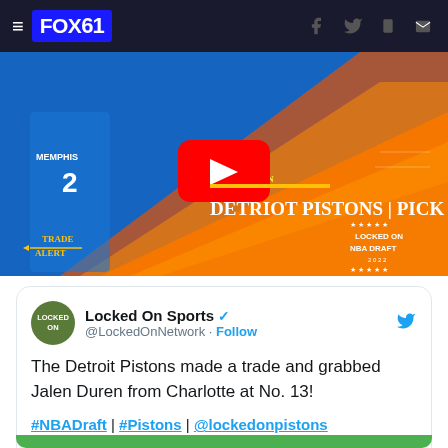FOX61
[Figure (screenshot): NBA Draft video thumbnail showing Jalen Duren with 'DETROIT PISTONS | PICK 13' text, Locked On NBA Draft branding, trade alert graphic, YouTube play button overlay]
Locked On Sports @LockedOnNetwork · Follow
The Detroit Pistons made a trade and grabbed Jalen Duren from Charlotte at No. 13!
#NBADraft | #Pistons | @lockedonpistons